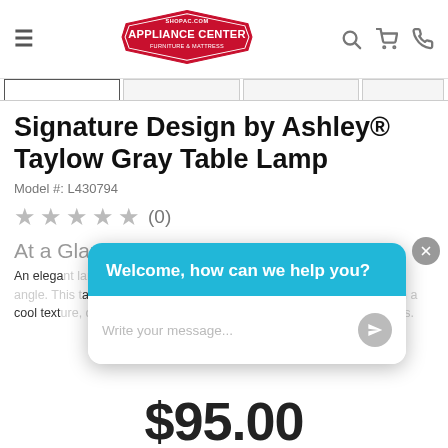[Figure (logo): Appliance Center Furniture & Mattress logo — shopac.com, red hexagonal badge shape with white text]
Signature Design by Ashley® Taylow Gray Table Lamp
Model #: L430794
★★★★★ (0)
At a Glance
An elegant lamp making a stunning statement when viewed from every angle. This table lamp, with its hexagon-shaped base, adds fluidity with a cool texture, offering an intriguing look for modern or transitional spaces.
[Figure (screenshot): Chat widget overlay with header 'Welcome, how can we help you?' in cyan/teal and message input area below]
$95.00